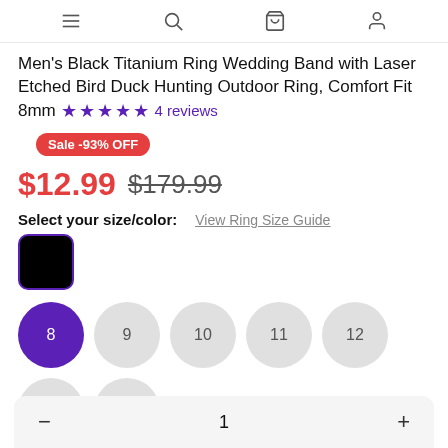Navigation bar with menu, search, cart, and profile icons
Men's Black Titanium Ring Wedding Band with Laser Etched Bird Duck Hunting Outdoor Ring, Comfort Fit 8mm ★★★★★ 4 reviews
Sale -93% OFF
$12.99  $179.99
Select your size/color:  View Ring Size Guide
[Figure (other): Black color swatch square with purple border, selected]
Size options: 8 (selected), 9, 10, 11, 12, 13, 8.5, 9.5, 10.5
Quantity selector: minus, 1, plus